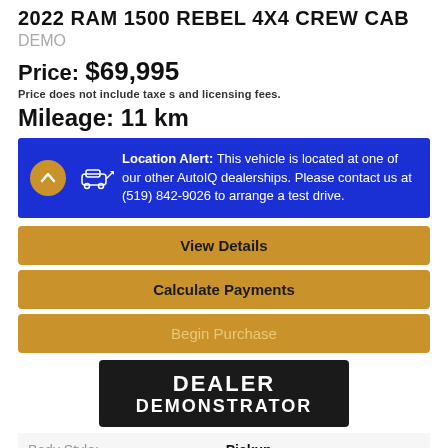2022 RAM 1500 REBEL 4X4 CREW CAB
DEMO
Price: $69,995
Price does not include taxes and licensing fees.
Mileage: 11 km
Location Alert: This vehicle is located at one of our other AutoIQ dealerships. Please contact us at (519) 842-9026 to arrange a test drive.
View Details
Calculate Payments
Begin Purchase
[Figure (logo): DEALER DEMONSTRATOR badge, black background, white bold uppercase text]
| Body Style: | Pickup |
| Engine: | 5.7L 8Cyl |
| Exterior Colour: | Blue |